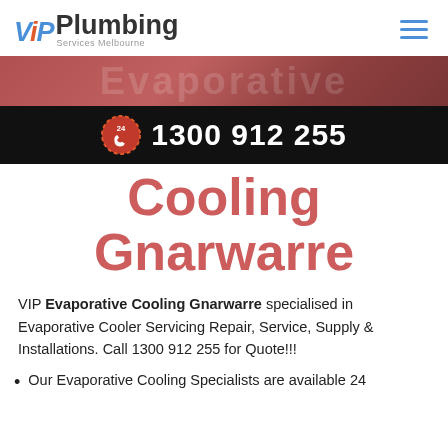[Figure (logo): VIP Plumbing Services Melbourne logo in blue and red]
[Figure (photo): Partial hero image showing evaporative cooling unit in reddish tones]
1300 912 255
Cooling
Gnarwarre
VIP Evaporative Cooling Gnarwarre specialised in Evaporative Cooler Servicing Repair, Service, Supply & Installations. Call 1300 912 255 for Quote!!!
Our Evaporative Cooling Specialists are available 24